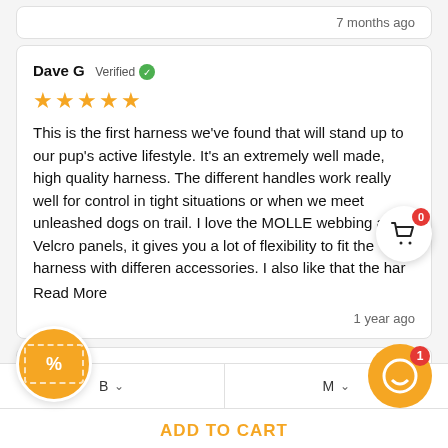7 months ago
Dave G  Verified
★★★★★
This is the first harness we've found that will stand up to our pup's active lifestyle. It's an extremely well made, high quality harness. The different handles work really well for control in tight situations or when we meet unleashed dogs on trail. I love the MOLLE webbing and Velcro panels, it gives you a lot of flexibility to fit the harness with different accessories. I also like that the har
Read More
1 year ago
Brandi  Verified
B
M
ADD TO CART